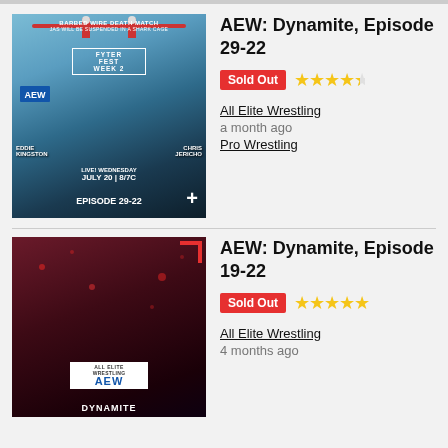[Figure (photo): AEW Dynamite Episode 29-22 promotional poster featuring Eddie Kingston vs Chris Jericho Barbed Wire Death Match at Fyter Fest Week 2, live Wednesday July 20 8/7C]
AEW: Dynamite, Episode 29-22
Sold Out ★★★★½
All Elite Wrestling
a month ago
Pro Wrestling
[Figure (photo): AEW Dynamite Episode 19-22 promotional poster featuring two wrestlers facing off, AEW All Elite Wrestling Dynamite logo]
AEW: Dynamite, Episode 19-22
Sold Out ★★★★★
All Elite Wrestling
4 months ago